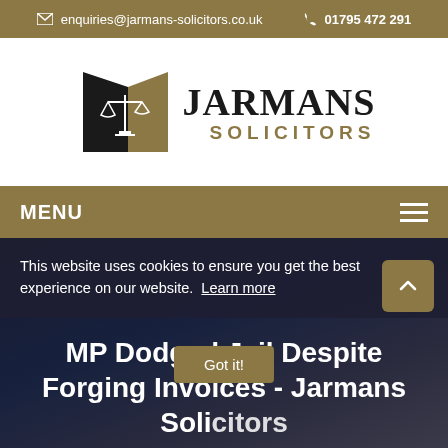✉ enquiries@jarmans-solicitors.co.uk   ☏ 01795 472 291
[Figure (logo): Jarmans Solicitors logo — scales of justice icon with black and gold geometric shape, beside bold text JARMANS SOLICITORS]
MENU
This website uses cookies to ensure you get the best experience on our website. Learn more
MP Dodged Jail Despite Forging Invoices - Jarmans Solicitors